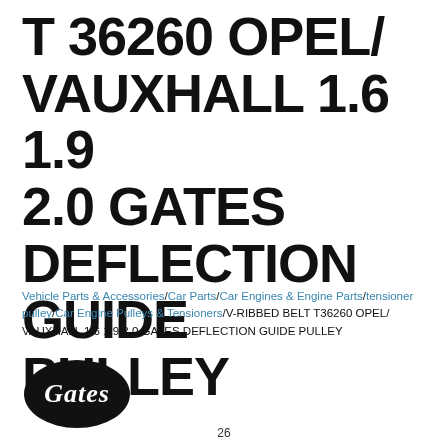T 36260 OPEL/ VAUXHALL 1.6 1.9 2.0 GATES DEFLECTION GUIDE PULLEY
Vehicle Parts & Accessories/Car Parts/Car Engines & Engine Parts/tensioner pulley/Car Engine Pulleys & Tensioners/V-RIBBED BELT T36260 OPEL/ VAUXHALL 1.6 1.9 2.0 GATES DEFLECTION GUIDE PULLEY
[Figure (logo): Gates brand logo — black oval with white cursive 'Gates' text]
26